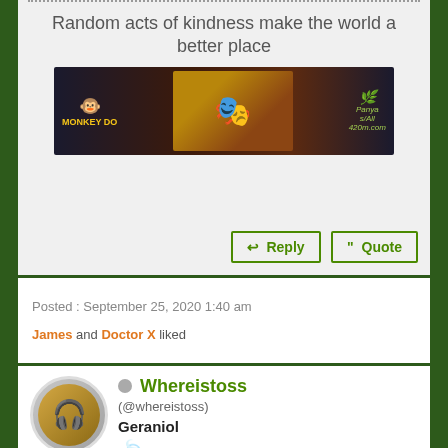Random acts of kindness make the world a better place
[Figure (photo): Banner image with cannabis leaf decorations, a cartoon monkey labeled MONKEY DO on the left, a colorful figure in the center, and text reading Panya s/All 420.com on the right]
Reply  Quote
Posted : September 25, 2020 1:40 am
James and Doctor X liked
Whereistoss
(@whereistoss)
Geraniol